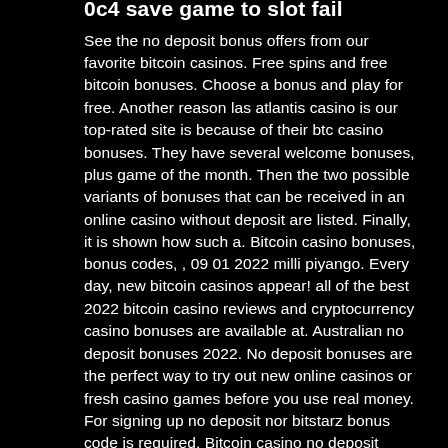0c4 save game to slot fail
See the no deposit bonus offers from our favorite bitcoin casinos. Free spins and free bitcoin bonuses. Choose a bonus and play for free. Another reason las atlantis casino is our top-rated site is because of their btc casino bonuses. They have several welcome bonuses, plus game of the month. Then the two possible variants of bonuses that can be received in an online casino without deposit are listed. Finally, it is shown how such a. Bitcoin casino bonuses, bonus codes, , 09 01 2022 milli piyango. Every day, new bitcoin casinos appear! all of the best 2022 bitcoin casino reviews and cryptocurrency casino bonuses are available at. Australian no deposit bonuses 2022. No deposit bonuses are the perfect way to try out new online casinos or fresh casino games before you use real money. For signing up no deposit nor bitstarz bonus code is required. Bitcoin casino no deposit bonuses cause new users